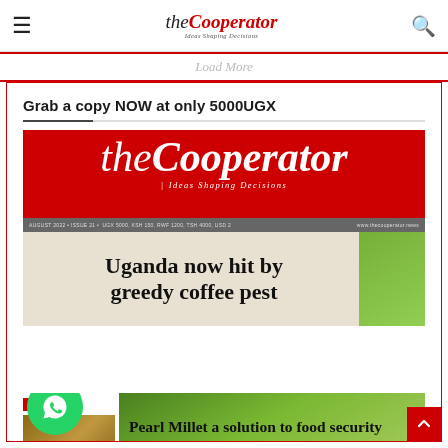theCooperator — Ideas Shaping Decisions
Load More
Grab a copy NOW at only 5000UGX
[Figure (photo): Front cover of The Cooperator magazine, August 2022, Issue 21. Red header with the logo 'theCooperator — Ideas Shaping Decisions'. Grey bar: AUGUST 2022 • ISSUE 21 • UGX 5000, KSH 150, RWF 1200, TSH 4000, USD 2 — www.thecooperator.news. Headline: Uganda now hit by greedy coffee pest. Bottom section with Also Inside panel and green plant image.]
Uganda now hit by greedy coffee pest
Also Inside
Rift widens in Teso
Pearl Millet a solution to food security